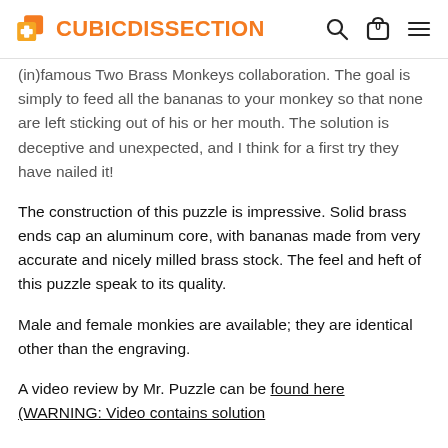CUBICDISSECTION
(in)famous Two Brass Monkeys collaboration. The goal is simply to feed all the bananas to your monkey so that none are left sticking out of his or her mouth. The solution is deceptive and unexpected, and I think for a first try they have nailed it!
The construction of this puzzle is impressive. Solid brass ends cap an aluminum core, with bananas made from very accurate and nicely milled brass stock. The feel and heft of this puzzle speak to its quality.
Male and female monkies are available; they are identical other than the engraving.
A video review by Mr. Puzzle can be found here (WARNING: Video contains solution